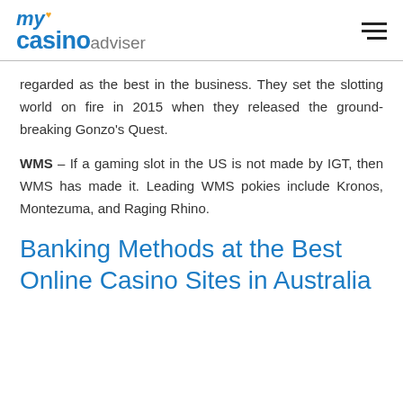my casino adviser
regarded as the best in the business. They set the slotting world on fire in 2015 when they released the ground-breaking Gonzo's Quest.
WMS – If a gaming slot in the US is not made by IGT, then WMS has made it. Leading WMS pokies include Kronos, Montezuma, and Raging Rhino.
Banking Methods at the Best Online Casino Sites in Australia